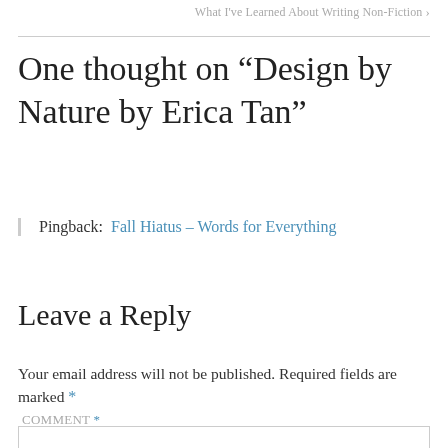What I've Learned About Writing Non-Fiction ›
One thought on “Design by Nature by Erica Tan”
Pingback: Fall Hiatus – Words for Everything
Leave a Reply
Your email address will not be published. Required fields are marked *
Comment *